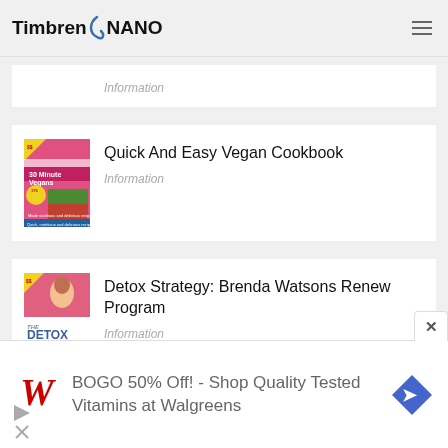Timbren NANO
Information
[Figure (photo): Book cover: 30 Minute Vegans cookbook]
Quick And Easy Vegan Cookbook
Information
[Figure (photo): Book cover: The Detox Strategy by Brenda Watson]
Detox Strategy: Brenda Watsons Renew Program
Information
BOGO 50% Off! - Shop Quality Tested Vitamins at Walgreens